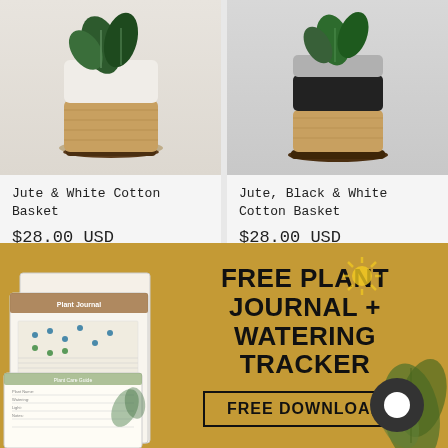[Figure (photo): Jute and white cotton basket with plant on wooden base]
Jute & White Cotton Basket
$28.00 USD
[Figure (photo): Jute, black and white cotton basket with plant on wooden base]
Jute, Black & White Cotton Basket
$28.00 USD
[Figure (photo): Plant in glass vase partial view]
[Figure (photo): Bamboo sticks/straws product partial view]
[Figure (infographic): Free Plant Journal + Watering Tracker download banner with journal images, leaf decoration, sun icon, and chat bubble]
FREE PLANT JOURNAL + WATERING TRACKER
FREE DOWNLOAD